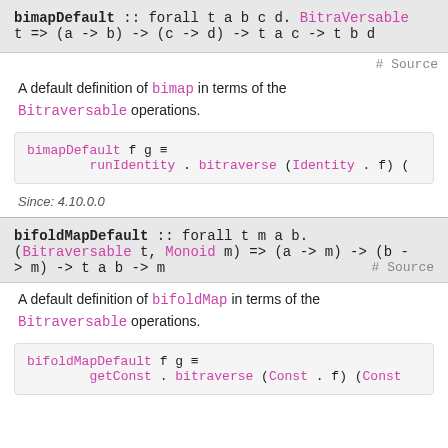bimapDefault :: forall t a b c d. BitraVersable t => (a -> b) -> (c -> d) -> t a c -> t b d
# Source
A default definition of bimap in terms of the Bitraversable operations.
Since: 4.10.0.0
bifoldMapDefault :: forall t m a b. (Bitraversable t, Monoid m) => (a -> m) -> (b -> m) -> t a b -> m
# Source
A default definition of bifoldMap in terms of the Bitraversable operations.